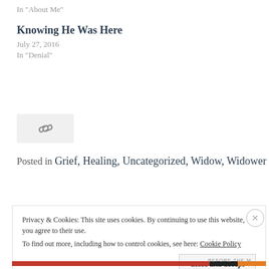In "About Me"
Knowing He Was Here
July 27, 2016
In "Denial"
[Figure (other): Link chain icon in a light gray box]
Posted in Grief, Healing, Uncategorized, Widow, Widower
Privacy & Cookies: This site uses cookies. By continuing to use this website, you agree to their use.
To find out more, including how to control cookies, see here: Cookie Policy
Close and accept